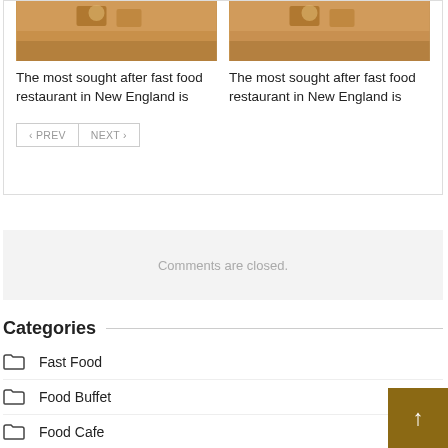[Figure (screenshot): Two article cards each showing a food/restaurant photo thumbnail at top, with article title below]
The most sought after fast food restaurant in New England is
The most sought after fast food restaurant in New England is
< PREV   NEXT >
Comments are closed.
Categories
Fast Food
Food Buffet
Food Cafe